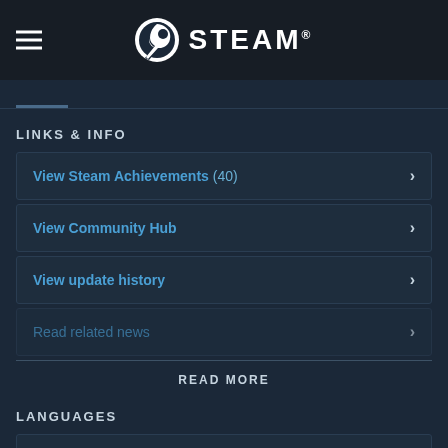STEAM
LINKS & INFO
View Steam Achievements (40)
View Community Hub
View update history
Read related news
READ MORE
LANGUAGES
English and 28 more